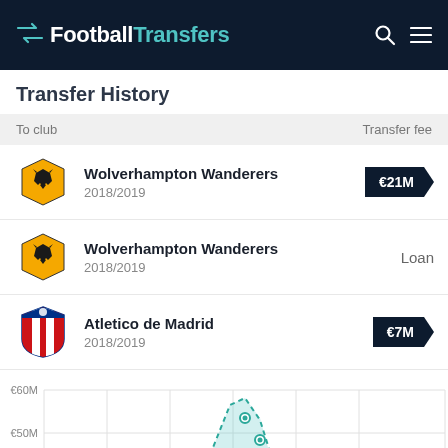FootballTransfers
Transfer History
| To club | Transfer fee |
| --- | --- |
| Wolverhampton Wanderers 2018/2019 | €21M |
| Wolverhampton Wanderers 2018/2019 | Loan |
| Atletico de Madrid 2018/2019 | €7M |
[Figure (line-chart): Line chart showing transfer value over time with a peak around €50M-€55M and values at €40M and €60M gridlines visible]